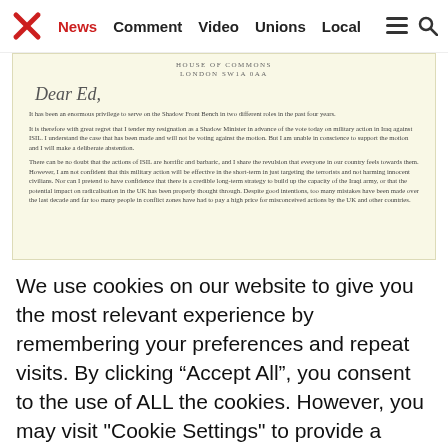News | Comment | Video | Unions | Local
[Figure (photo): Scanned letter on cream paper headed 'HOUSE OF COMMONS LONDON SW1A 0AA' with handwritten salutation 'Dear Ed,' and typed body text tendering resignation as Shadow Minister over the Iraq military action vote.]
We use cookies on our website to give you the most relevant experience by remembering your preferences and repeat visits. By clicking "Accept All", you consent to the use of ALL the cookies. However, you may visit "Cookie Settings" to provide a controlled consent.